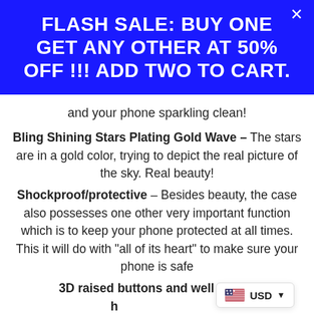FLASH SALE: BUY ONE GET ANY OTHER AT 50% OFF !!! ADD TWO TO CART.
and your phone sparkling clean!
Bling Shining Stars Plating Gold Wave – The stars are in a gold color, trying to depict the real picture of the sky. Real beauty!
Shockproof/protective – Besides beauty, the case also possesses one other very important function which is to keep your phone protected at all times. This it will do with "all of its heart" to make sure your phone is safe
3D raised buttons and well cutout h... buttons are well raised in a 3D-like manner to